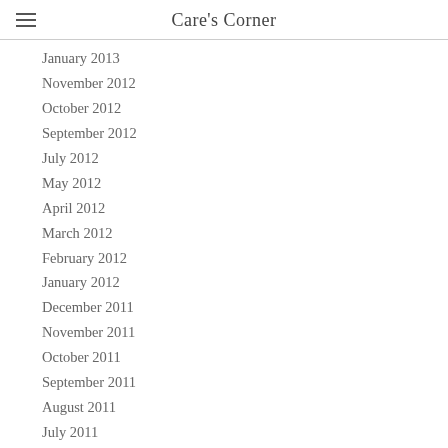Care's Corner
January 2013
November 2012
October 2012
September 2012
July 2012
May 2012
April 2012
March 2012
February 2012
January 2012
December 2011
November 2011
October 2011
September 2011
August 2011
July 2011
June 2011
May 2011
April 2011